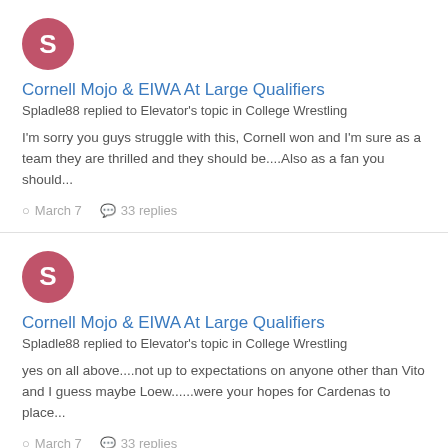[Figure (illustration): Pink circular avatar with letter S]
Cornell Mojo & EIWA At Large Qualifiers
Spladle88 replied to Elevator's topic in College Wrestling
I'm sorry you guys struggle with this, Cornell won and I'm sure as a team they are thrilled and they should be....Also as a fan you should...
March 7   33 replies
[Figure (illustration): Pink circular avatar with letter S]
Cornell Mojo & EIWA At Large Qualifiers
Spladle88 replied to Elevator's topic in College Wrestling
yes on all above....not up to expectations on anyone other than Vito and I guess maybe Loew......were your hopes for Cardenas to place...
March 7   33 replies
[Figure (illustration): Pink circular avatar with letter S]